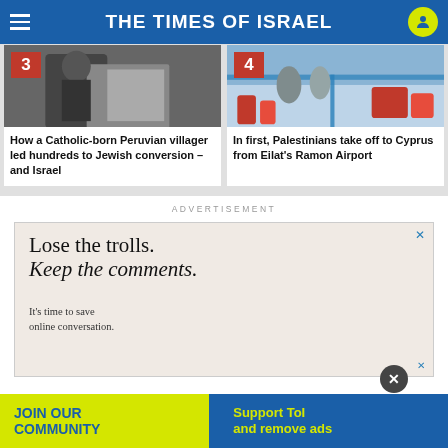THE TIMES OF ISRAEL
[Figure (photo): Black and white photo of a man in a suit with number 3 badge]
How a Catholic-born Peruvian villager led hundreds to Jewish conversion – and Israel
[Figure (photo): Color photo of airport with luggage and people with number 4 badge]
In first, Palestinians take off to Cyprus from Eilat's Ramon Airport
ADVERTISEMENT
[Figure (infographic): Advertisement: Lose the trolls. Keep the comments. It's time to save online conversation.]
JOIN OUR COMMUNITY
Support ToI and remove ads